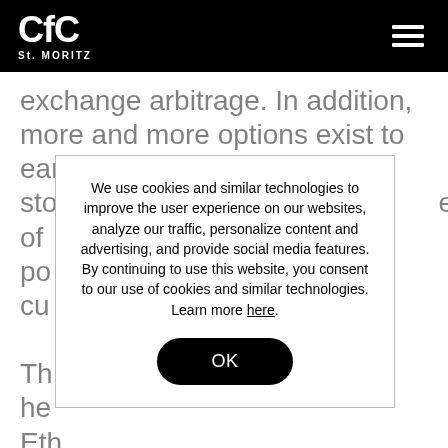CfC St. MORITZ
exchange arbitrage. In addition, more and more options exist to earn a yield on sto[...]e of po[...] cu[...] The he[...] Eth[...]so tes[...]
We use cookies and similar technologies to improve the user experience on our websites, analyze our traffic, personalize content and advertising, and provide social media features. By continuing to use this website, you consent to our use of cookies and similar technologies. Learn more here.
OK
Transaction fees are high, and players are scrambling to find cheaper and faster solutions (be it layer-2 solutions or alternative blockchains such as Tron, Solana, Avalanche, or Binance Chain with their